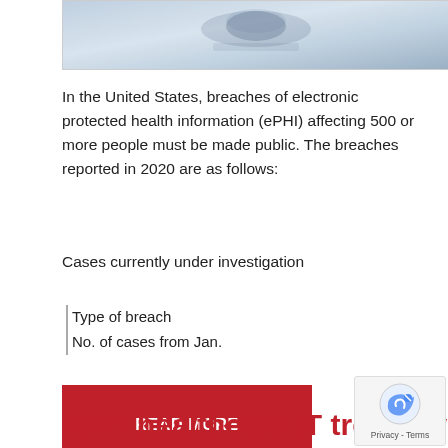[Figure (photo): A blurred photo showing what appears to be a stethoscope or medical equipment on a desk, with a blue-grey toned background.]
In the United States, breaches of electronic protected health information (ePHI) affecting 500 or more people must be made public. The breaches reported in 2020 are as follows:
Cases currently under investigation
Type of breach
No. of cases from Jan.
READ MORE
2021 healthcare IT trends you